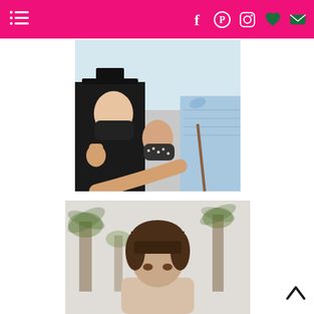Navigation bar with menu icon and social media icons (Facebook, Pinterest, Instagram, heart/favorites, email)
[Figure (photo): Selfie of three people at a graduation ceremony. Person on left wearing graduation cap and black mask giving thumbs up. Center person wearing black bedazzled mask. Person on right wearing light blue smocked top with a blue bow, partially visible, taking the selfie.]
[Figure (photo): Outdoor photo of a person with short dark hair, shown from shoulders up. Palm trees visible in blurred background.]